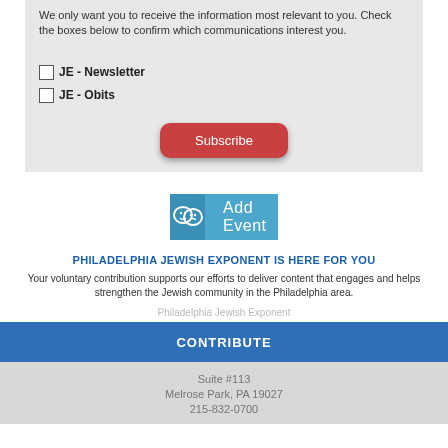We only want you to receive the information most relevant to you. Check the boxes below to confirm which communications interest you.
JE - Newsletter
JE - Obits
Subscribe
[Figure (infographic): Add Event button bar with theater mask icon in blue]
PHILADELPHIA JEWISH EXPONENT IS HERE FOR YOU
Your voluntary contribution supports our efforts to deliver content that engages and helps strengthen the Jewish community in the Philadelphia area.
Philadelphia Jewish Exponent
CONTRIBUTE
Suite #113
Melrose Park, PA 19027
215-832-0700